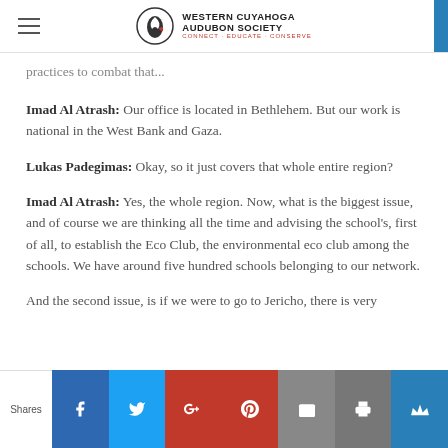Western Cuyahoga Audubon Society — CONNECT · EDUCATE · CONSERVE
practices to combat that...
Imad Al Atrash: Our office is located in Bethlehem. But our work is national in the West Bank and Gaza.
Lukas Padegimas: Okay, so it just covers that whole entire region?
Imad Al Atrash: Yes, the whole region. Now, what is the biggest issue, and of course we are thinking all the time and advising the school's, first of all, to establish the Eco Club, the environmental eco club among the schools. We have around five hundred schools belonging to our network.
And the second issue, is if we were to go to Jericho, there is very
Shares [Facebook] [Twitter] [Google+] [Pinterest] [Email] [Print] [Crown]